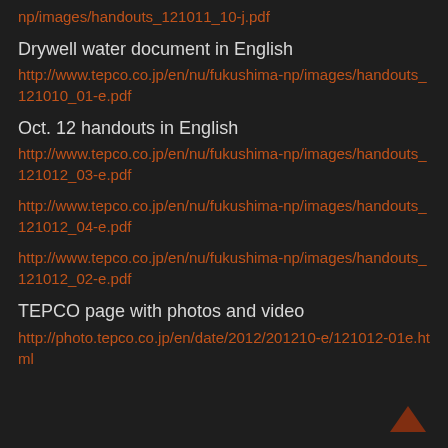np/images/handouts_121011_10-j.pdf
Drywell water document in English
http://www.tepco.co.jp/en/nu/fukushima-np/images/handouts_121010_01-e.pdf
Oct. 12 handouts in English
http://www.tepco.co.jp/en/nu/fukushima-np/images/handouts_121012_03-e.pdf
http://www.tepco.co.jp/en/nu/fukushima-np/images/handouts_121012_04-e.pdf
http://www.tepco.co.jp/en/nu/fukushima-np/images/handouts_121012_02-e.pdf
TEPCO page with photos and video
http://photo.tepco.co.jp/en/date/2012/201210-e/121012-01e.html